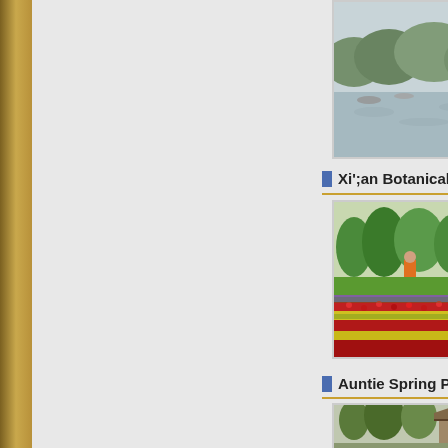[Figure (photo): Lake scene with trees and water, partially cropped at top of page]
Xi';an Botanical G
[Figure (photo): Xi'an Botanical Garden with colorful tulip flower fields in rows of red and yellow, person in orange in background, trees]
Auntie Spring Peo
[Figure (photo): Auntie Spring People scene with trees and traditional architecture, partially visible]